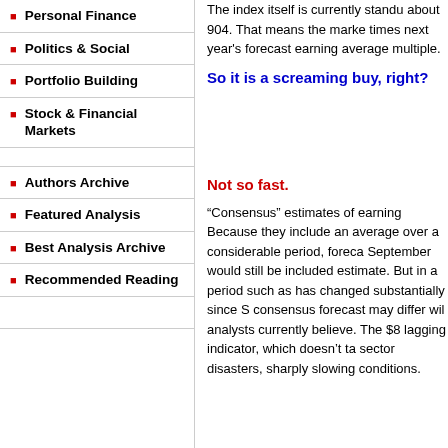Personal Finance
Politics & Social
Portfolio Building
Stock & Financial Markets
Authors Archive
Featured Analysis
Best Analysis Archive
Recommended Reading
The index itself is currently standing at about 904. That means the market is trading times next year's forecast earnings, a below average multiple.
So it is a screaming buy, right?
Not so fast.
“Consensus” estimates of earnings Because they include an average over a considerable period, forecasts made in September would still be included estimate. But in a period such as has changed substantially since S consensus forecast may differ wil analysts currently believe. The $8 lagging indicator, which doesn’t ta sector disasters, sharply slowing conditions.